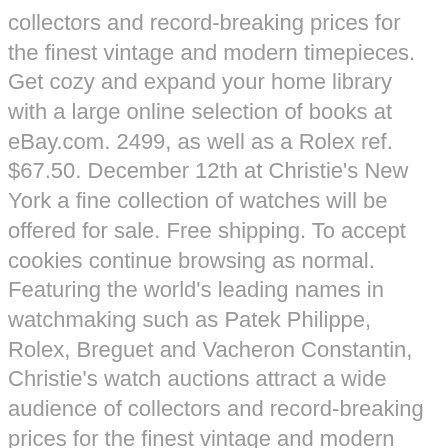collectors and record-breaking prices for the finest vintage and modern timepieces. Get cozy and expand your home library with a large online selection of books at eBay.com. 2499, as well as a Rolex ref. $67.50. December 12th at Christie's New York a fine collection of watches will be offered for sale. Free shipping. To accept cookies continue browsing as normal. Featuring the world's leading names in watchmaking such as Patek Philippe, Rolex, Breguet and Vacheron Constantin, Christie's watch auctions attract a wide audience of collectors and record-breaking prices for the finest vintage and modern timepieces.We hold sales in Dubai, Geneva, Hong Kong and New York throughout the year. This new MUDMASTER model, now availble instore and online at Christies, was created especially for those whose work takes them into areas where piles .. Save $240.00 $1,199.00 20% Off $959.00 The Catalogue of the